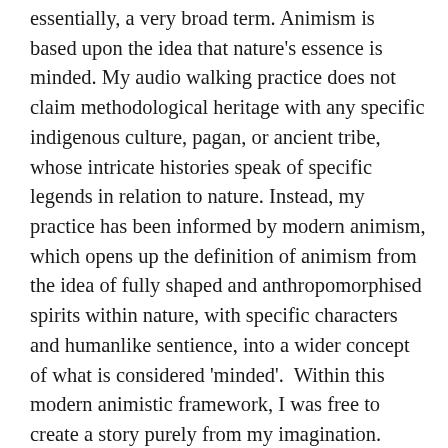essentially, a very broad term. Animism is based upon the idea that nature's essence is minded. My audio walking practice does not claim methodological heritage with any specific indigenous culture, pagan, or ancient tribe, whose intricate histories speak of specific legends in relation to nature. Instead, my practice has been informed by modern animism, which opens up the definition of animism from the idea of fully shaped and anthropomorphised spirits within nature, with specific characters and humanlike sentience, into a wider concept of what is considered 'minded'.  Within this modern animistic framework, I was free to create a story purely from my imagination.
Viewing animism as simply an acknowledgement of the connections and patterns of energy within nature does not require a pagan or spiritual belief system. Magnetism and gravity are essential forces, which are